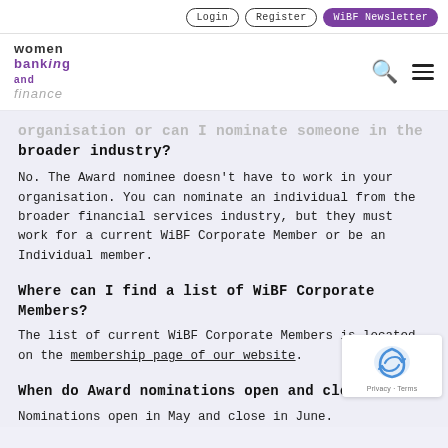Login | Register | WiBF Newsletter
[Figure (logo): Women Banking and Finance logo with navigation icons (search and hamburger menu)]
organisation or can I nominate someone in the broader industry?
No. The Award nominee doesn't have to work in your organisation. You can nominate an individual from the broader financial services industry, but they must work for a current WiBF Corporate Member or be an Individual member.
Where can I find a list of WiBF Corporate Members?
The list of current WiBF Corporate Members is located on the membership page of our website.
When do Award nominations open and close?
Nominations open in May and close in June.